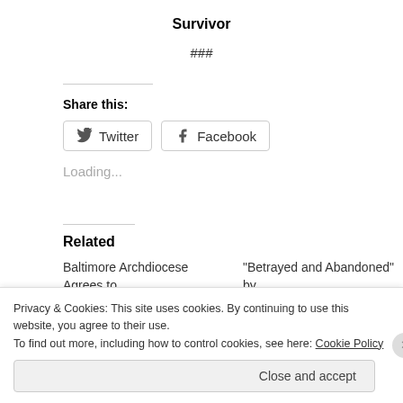Survivor
###
Share this:
Twitter  Facebook
Loading...
Related
Baltimore Archdiocese Agrees to
“Betrayed and Abandoned” by
Privacy & Cookies: This site uses cookies. By continuing to use this website, you agree to their use.
To find out more, including how to control cookies, see here: Cookie Policy
Close and accept